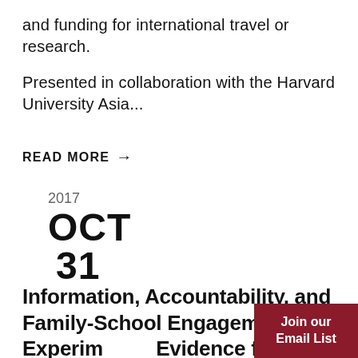and funding for international travel or research.
Presented in collaboration with the Harvard University Asia...
READ MORE →
2017
OCT
31
Information, Accountability, and Family-School Engagement: Experimental Evidence from Colombia
Join our Email List